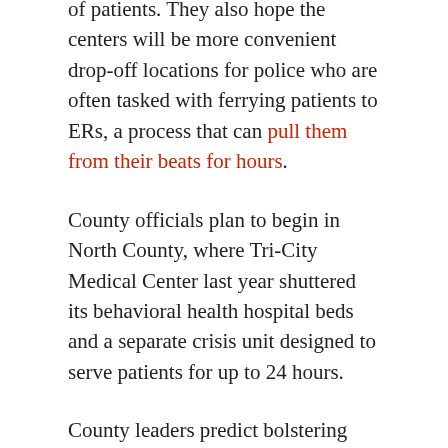of patients. They also hope the centers will be more convenient drop-off locations for police who are often tasked with ferrying patients to ERs, a process that can pull them from their beats for hours.
County officials plan to begin in North County, where Tri-City Medical Center last year shuttered its behavioral health hospital beds and a separate crisis unit designed to serve patients for up to 24 hours.
County leaders predict bolstering hospital-based crisis services and opening more community-based crisis units could provide relief for patients, emergency rooms and other mental health services.
Crisis stabilization units are facilities filled with plush recliners rather than beds, where patients